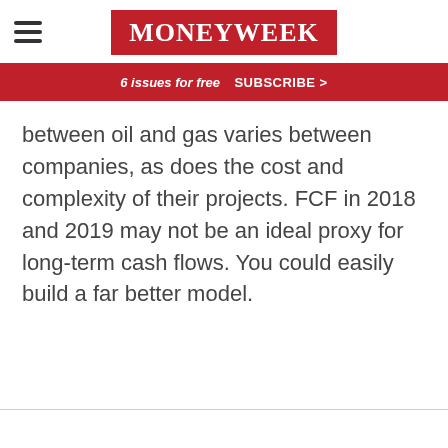MoneyWeek
6 issues for free  SUBSCRIBE >
between oil and gas varies between companies, as does the cost and complexity of their projects. FCF in 2018 and 2019 may not be an ideal proxy for long-term cash flows. You could easily build a far better model.